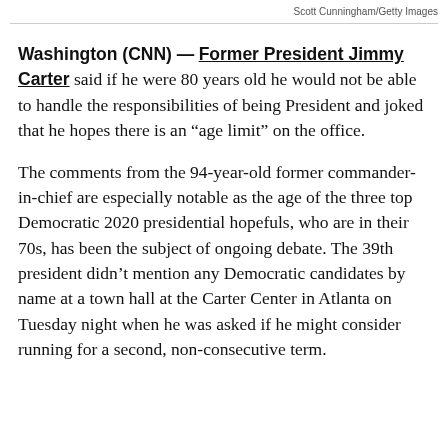Scott Cunningham/Getty Images
Washington (CNN) — Former President Jimmy Carter said if he were 80 years old he would not be able to handle the responsibilities of being President and joked that he hopes there is an “age limit” on the office.
The comments from the 94-year-old former commander-in-chief are especially notable as the age of the three top Democratic 2020 presidential hopefuls, who are in their 70s, has been the subject of ongoing debate. The 39th president didn’t mention any Democratic candidates by name at a town hall at the Carter Center in Atlanta on Tuesday night when he was asked if he might consider running for a second, non-consecutive term.